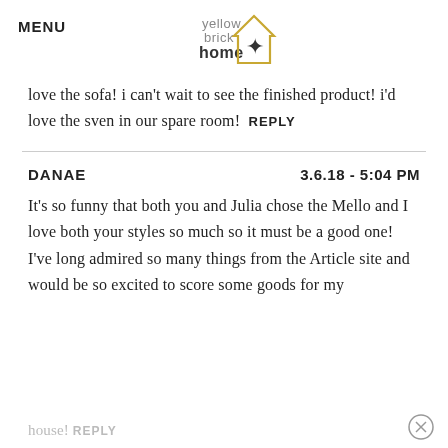MENU
[Figure (logo): Yellow Brick Home logo with house outline and star]
love the sofa! i can't wait to see the finished product! i'd love the sven in our spare room!  REPLY
DANAE   3.6.18 - 5:04 PM
It's so funny that both you and Julia chose the Mello and I love both your styles so much so it must be a good one! I've long admired so many things from the Article site and would be so excited to score some goods for my house!  REPLY